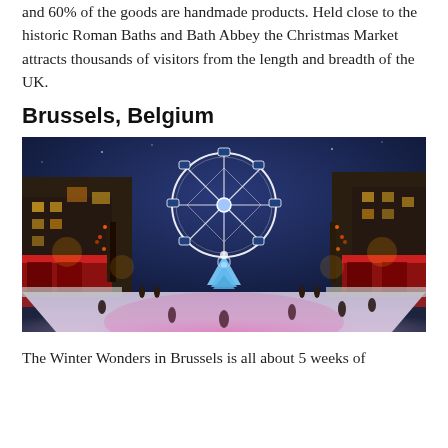and 60% of the goods are handmade products. Held close to the historic Roman Baths and Bath Abbey the Christmas Market attracts thousands of visitors from the length and breadth of the UK.
Brussels, Belgium
[Figure (photo): Night scene of Brussels Winter Wonders Christmas market with a large illuminated Ferris wheel in the background, a glowing Christmas tree in the center, an outdoor ice rink in the foreground with skaters, festive market stalls and lights on both sides, buildings visible on left and right.]
The Winter Wonders in Brussels is all about 5 weeks of